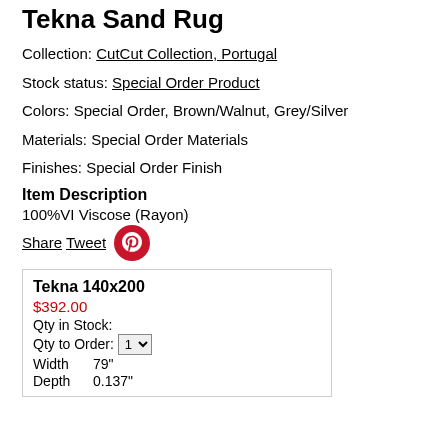Tekna Sand Rug
Collection: CutCut Collection, Portugal
Stock status: Special Order Product
Colors: Special Order, Brown/Walnut, Grey/Silver
Materials: Special Order Materials
Finishes: Special Order Finish
Item Description
100%VI Viscose (Rayon)
Share  Tweet  [Pinterest icon]
Tekna 140x200
$392.00
Qty in Stock:
Qty to Order: 1
Width  79"
Depth  0.137"